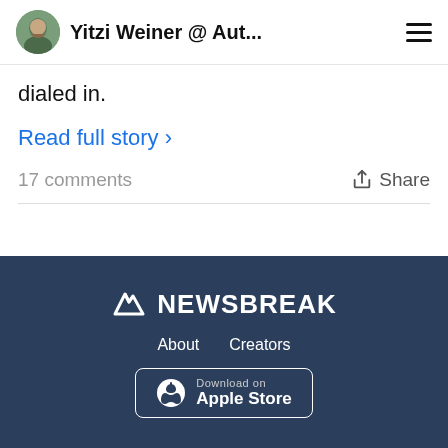Yitzi Weiner @ Aut...
dialed in.
Read full story >
17 comments
Share
NEWSBREAK  About  Creators  Download on Apple Store